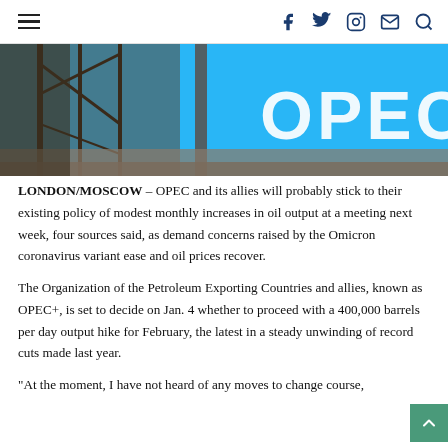Navigation bar with hamburger menu, social icons (Facebook, Twitter, Instagram, Email) and search
[Figure (photo): Photograph of an oil drilling rig in foreground with a bright blue OPEC logo/sign in the background]
LONDON/MOSCOW – OPEC and its allies will probably stick to their existing policy of modest monthly increases in oil output at a meeting next week, four sources said, as demand concerns raised by the Omicron coronavirus variant ease and oil prices recover.
The Organization of the Petroleum Exporting Countries and allies, known as OPEC+, is set to decide on Jan. 4 whether to proceed with a 400,000 barrels per day output hike for February, the latest in a steady unwinding of record cuts made last year.
“At the moment, I have not heard of any moves to change course,